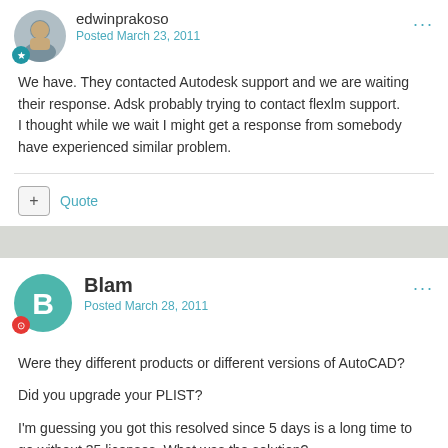edwinprakoso
Posted March 23, 2011
We have. They contacted Autodesk support and we are waiting their response. Adsk probably trying to contact flexlm support.
I thought while we wait I might get a response from somebody have experienced similar problem.
+ Quote
Blam
Posted March 28, 2011
Were they different products or different versions of AutoCAD?

Did you upgrade your PLIST?

I'm guessing you got this resolved since 5 days is a long time to go without 35 licenses. What was the solution?